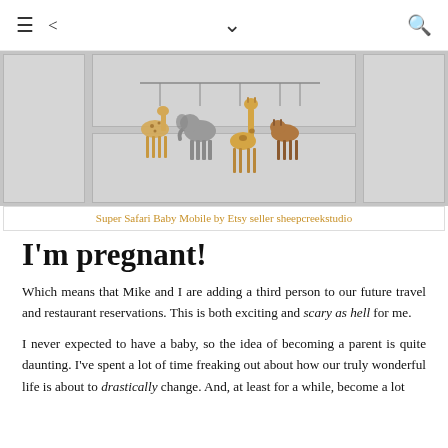≡  <  ∨  🔍
[Figure (photo): Safari animal plush toys (giraffe, elephant, etc.) hanging as a mobile above white paneled cabinet doors]
Super Safari Baby Mobile by Etsy seller sheepcreekstudio
I'm pregnant!
Which means that Mike and I are adding a third person to our future travel and restaurant reservations. This is both exciting and scary as hell for me.
I never expected to have a baby, so the idea of becoming a parent is quite daunting. I've spent a lot of time freaking out about how our truly wonderful life is about to drastically change. And, at least for a while, become a lot